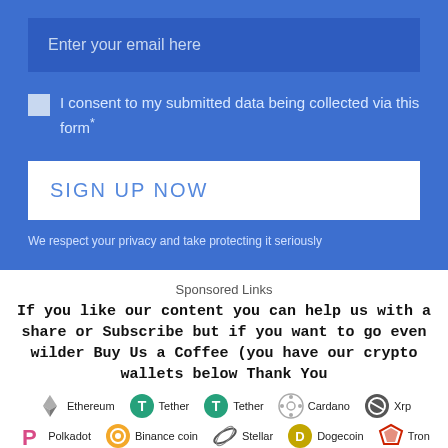Enter your email here
I consent to my submitted data being collected via this form*
SIGN UP NOW
We respect your privacy and take protecting it seriously
Sponsored Links
If you like our content you can help us with a share or Subscribe but if you want to go even wilder Buy Us a Coffee (you have our crypto wallets below Thank You
[Figure (infographic): Cryptocurrency logos row 1: Ethereum, Tether, Tether, Cardano, Xrp]
[Figure (infographic): Cryptocurrency logos row 2: Polkadot, Binance coin, Stellar, Dogecoin, Tron]
[Figure (infographic): Cryptocurrency logos row 3: Elrond, Vechain, Digibyte, Polygon matic]